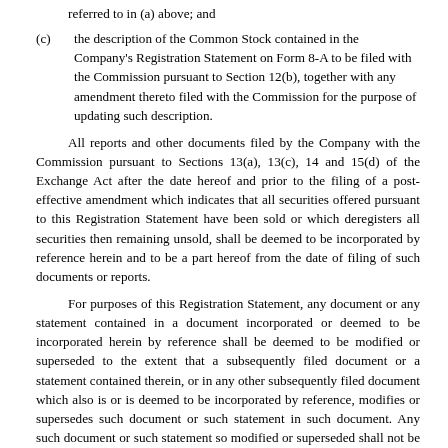referred to in (a) above; and
(c)   the description of the Common Stock contained in the Company's Registration Statement on Form 8-A to be filed with the Commission pursuant to Section 12(b), together with any amendment thereto filed with the Commission for the purpose of updating such description.
All reports and other documents filed by the Company with the Commission pursuant to Sections 13(a), 13(c), 14 and 15(d) of the Exchange Act after the date hereof and prior to the filing of a post-effective amendment which indicates that all securities offered pursuant to this Registration Statement have been sold or which deregisters all securities then remaining unsold, shall be deemed to be incorporated by reference herein and to be a part hereof from the date of filing of such documents or reports.
For purposes of this Registration Statement, any document or any statement contained in a document incorporated or deemed to be incorporated herein by reference shall be deemed to be modified or superseded to the extent that a subsequently filed document or a statement contained therein, or in any other subsequently filed document which also is or is deemed to be incorporated by reference, modifies or supersedes such document or such statement in such document. Any such document or such statement so modified or superseded shall not be deemed, except as so modified or superseded, to constitute a part of this Registration Statement.